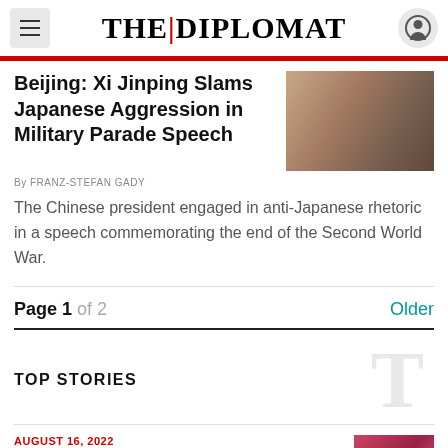THE DIPLOMAT
Beijing: Xi Jinping Slams Japanese Aggression in Military Parade Speech
[Figure (photo): Photo of Xi Jinping seated, wearing a dark suit]
By FRANZ-STEFAN GADY
The Chinese president engaged in anti-Japanese rhetoric in a speech commemorating the end of the Second World War.
Page 1 of 2
Older
TOP STORIES
AUGUST 16, 2022
How 'Third Way' Countries Live With
[Figure (photo): Photo related to third way countries article]